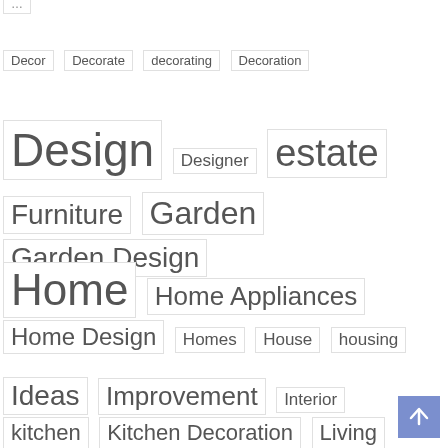Decor  Decorate  decorating  Decoration
Design  Designer  estate
Furniture  Garden  Garden Design
Home  Home Appliances
Home Design  Homes  House  housing
Ideas  Improvement  Interior
kitchen  Kitchen Decoration  Living
Living Room Decoration  Market
News  pool  projects  Real
Real Estate  Room  Show